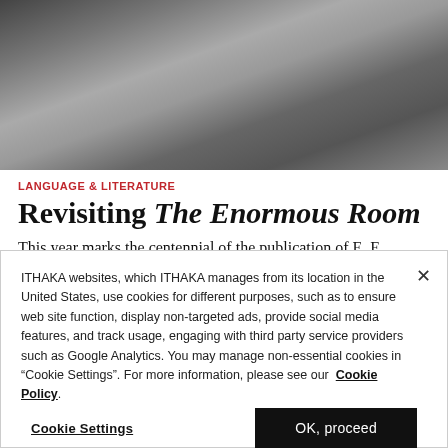[Figure (photo): Black and white photograph of a person with hand raised near face, contemplative pose]
LANGUAGE & LITERATURE
Revisiting The Enormous Room
This year marks the centennial of the publication of E. E. Cummings's novel based on his imprisonment in France
ITHAKA websites, which ITHAKA manages from its location in the United States, use cookies for different purposes, such as to ensure web site function, display non-targeted ads, provide social media features, and track usage, engaging with third party service providers such as Google Analytics. You may manage non-essential cookies in “Cookie Settings”. For more information, please see our Cookie Policy.
Cookie Settings
OK, proceed